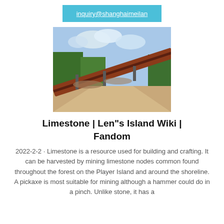inquiry@shanghaimeilan
[Figure (photo): Outdoor photo showing a dirt/gravel road with a rust-colored conveyor belt or elevated structure running diagonally from the lower-left to the upper-right, green trees in the background and cloudy sky.]
Limestone | Len"s Island Wiki | Fandom
2022-2-2 · Limestone is a resource used for building and crafting. It can be harvested by mining limestone nodes common found throughout the forest on the Player Island and around the shoreline. A pickaxe is most suitable for mining although a hammer could do in a pinch. Unlike stone, it has a